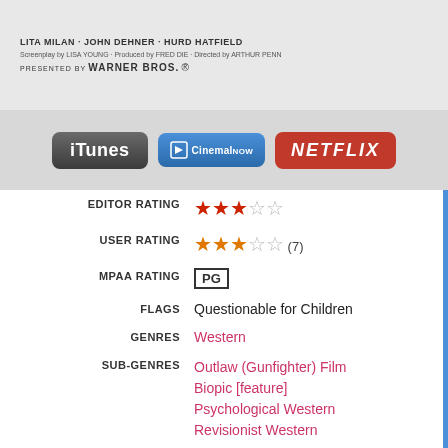[Figure (photo): Movie poster/banner area with credits: LITA MILAN · JOHN DEHNER · HURD HATFIELD, screenplay, produced, directed by credits, presented by WARNER BROS.]
[Figure (infographic): Streaming service buttons: iTunes, CinemaNow, NETFLIX]
EDITOR RATING ★★★☆☆
USER RATING ★★★☆☆ (7)
MPAA RATING PG
FLAGS Questionable for Children
GENRES Western
SUB-GENRES Outlaw (Gunfighter) Film
Biopic [feature]
Psychological Western
Revisionist Western
CATEGORY Feature
DIRECTED BY Arthur Penn
COUNTRIES USA